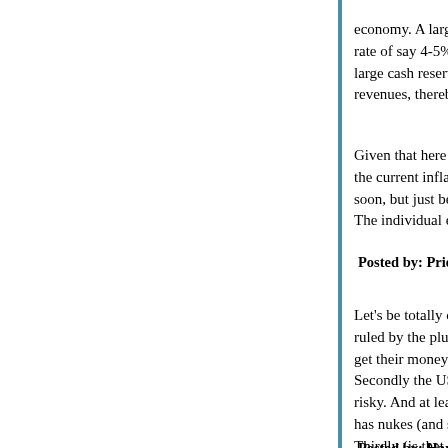economy. A larger number of dollars and the Fed rate of say 4-5% would give an incentive to the bu large cash reserves to spend/invest, which shoul revenues, thereby improving the federal balance s
Given that here in the real world the Fed is unwilli the current inflation target (2%, I believe), I don't s soon, but just because the tools aren't being used. The individual euro countries don't even have the
Posted by: Priest | December 09, 2011 at 07:22 PM
Let's be totally cynic. Maybe the US situation is di ruled by the plutocrats, so other countries' plutocr get their money (or they can effectively take part i Secondly the US are armed and dangerous, so p risky. And at least one GOPster candidate for PO has nukes (and should possibly be attacked befor Thirdly (is that grammatically correct?), there is th financial destruction. If the US go down, all the w shots in the US know that and are already to a de on it. 'Do as we say or we will blow up and take a
Posted by: Hartmut | December 10, 2011 at 04:21 AM